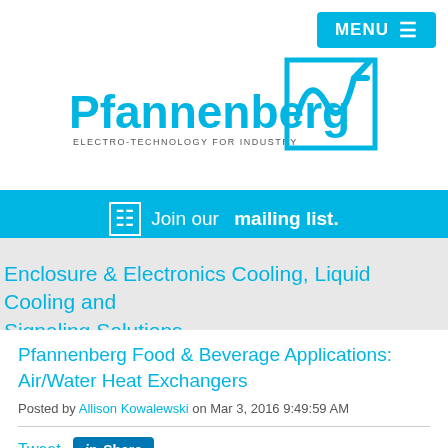MENU ☰
[Figure (logo): Pfannenberg logo with blue wave/checkmark icon and text 'PFANNENBERG ELECTRO-TECHNOLOGY FOR INDUSTRY']
Join our mailing list.
Enclosure & Electronics Cooling, Liquid Cooling and Signaling Solutions
Pfannenberg Food & Beverage Applications: Air/Water Heat Exchangers
Posted by Allison Kowalewski on Mar 3, 2016 9:49:59 AM
Tweet  Share